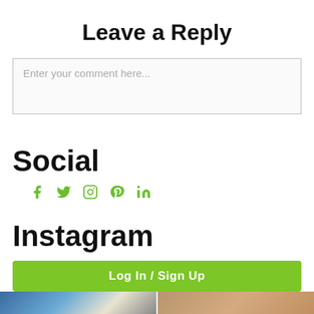Leave a Reply
Enter your comment here...
Social
[Figure (infographic): Social media icons: Facebook, Twitter, Instagram, Pinterest, LinkedIn in green color]
Instagram
Log In / Sign Up
[Figure (photo): Two thumbnail images at the bottom of the page]